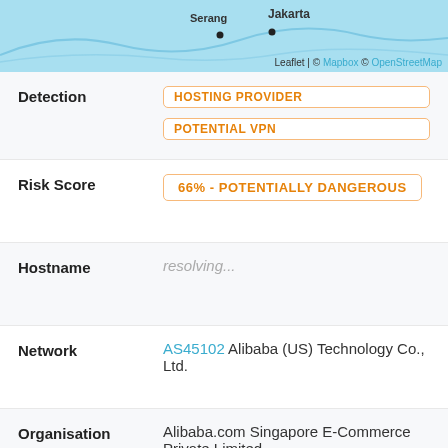[Figure (map): Map showing Serang and Jakarta area in Indonesia with blue water background. Map credit: Leaflet | © Mapbox © OpenStreetMap]
| Field | Value |
| --- | --- |
| Detection | HOSTING PROVIDER | POTENTIAL VPN |
| Risk Score | 66% - POTENTIALLY DANGEROUS |
| Hostname | resolving... |
| Network | AS45102 Alibaba (US) Technology Co., Ltd. |
| Organisation | Alibaba.com Singapore E-Commerce Private Limited |
| Continent | Asia |
| Country | 🇸🇬 Singapore |